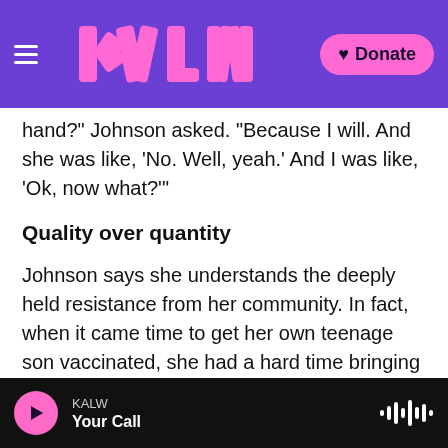KALW (logo) | Donate
hand?" Johnson asked. "Because I will. And she was like, 'No. Well, yeah.' And I was like, 'Ok, now what?'"
Quality over quantity
Johnson says she understands the deeply held resistance from her community. In fact, when it came time to get her own teenage son vaccinated, she had a hard time bringing herself to make him an appointment — even though she was working to get others vaccinated and had a long, debilitating battle herself with COVID-19.
KALW | Your Call